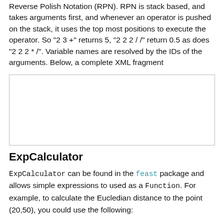Reverse Polish Notation (RPN). RPN is stack based, and takes arguments first, and whenever an operator is pushed on the stack, it uses the top most positions to execute the operator. So "2 3 +" returns 5, "2 2 2 / /" return 0.5 as does "2 2 2 * /". Variable names are resolved by the IDs of the arguments. Below, a complete XML fragment
[Figure (other): Empty bordered box representing a code/XML fragment placeholder]
ExpCalculator
ExpCalculator can be found in the feast package and allows simple expressions to used as a Function. For example, to calculate the Eucledian distance to the point (20,50), you could use the following: